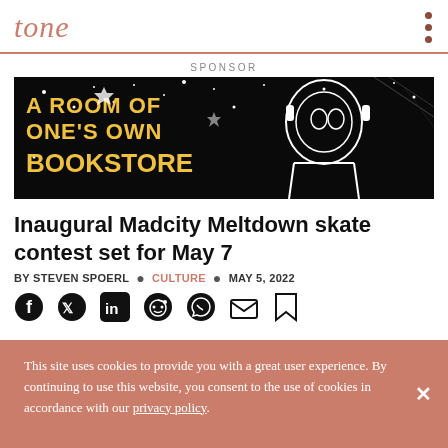tone
SPONSOR
[Figure (illustration): Advertisement banner for 'A Room of One's Own Bookstore' featuring comic-book style black and white illustration of a person in space gear with stars, with yellow bold text reading 'A ROOM OF ONE'S OWN BOOKSTORE' on black background.]
Inaugural Madcity Meltdown skate contest set for May 7
BY STEVEN SPOERL • CULTURE • MAY 5, 2022
[Figure (infographic): Row of social media sharing icons: Facebook, Twitter, LinkedIn, Reddit, WhatsApp, Email, Bookmark]
This site uses cookies to provide you with a great user experience. By continuing to use this website, you consent to the use of cookies in accordance with our privacy policy.